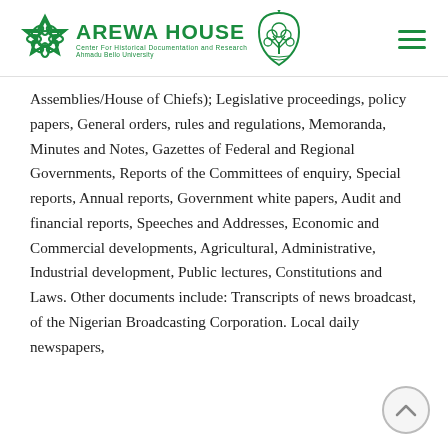AREWA HOUSE — Center for Historical Documentation and Research, Ahmadu Bello University
Assemblies/House of Chiefs); Legislative proceedings, policy papers, General orders, rules and regulations, Memoranda, Minutes and Notes, Gazettes of Federal and Regional Governments, Reports of the Committees of enquiry, Special reports, Annual reports, Government white papers, Audit and financial reports, Speeches and Addresses, Economic and Commercial developments, Agricultural, Administrative, Industrial development, Public lectures, Constitutions and Laws. Other documents include: Transcripts of news broadcast, of the Nigerian Broadcasting Corporation. Local daily newspapers,